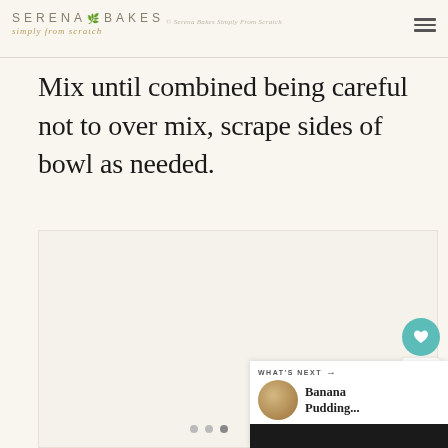SERENA BAKES simply from scratch — © Serena Bakes Simply From Scratch
Mix until combined being careful not to over mix, scrape sides of bowl as needed.
ADVERTISEMENT
[Figure (screenshot): Social sharing widget with heart/like button showing count of 63, and a share button]
[Figure (screenshot): What's Next panel showing Banana Pudding... with thumbnail image]